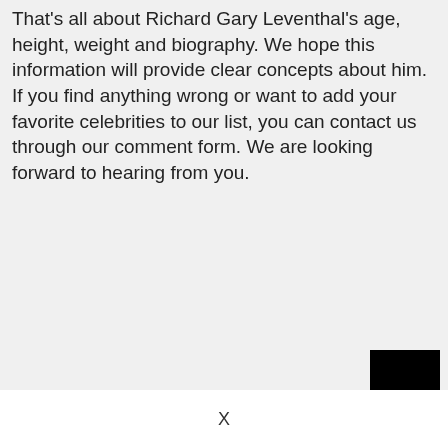That's all about Richard Gary Leventhal's age, height, weight and biography. We hope this information will provide clear concepts about him. If you find anything wrong or want to add your favorite celebrities to our list, you can contact us through our comment form. We are looking forward to hearing from you.
X